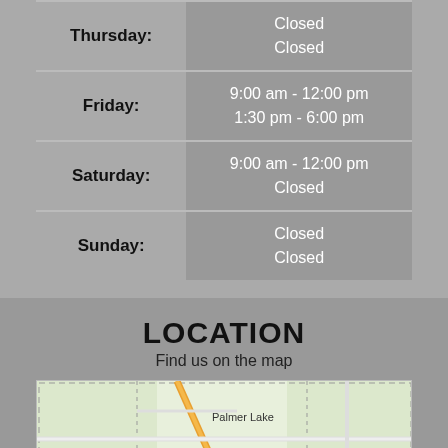| Day | Hours |
| --- | --- |
| Thursday: | Closed
Closed |
| Friday: | 9:00 am - 12:00 pm
1:30 pm - 6:00 pm |
| Saturday: | 9:00 am - 12:00 pm
Closed |
| Sunday: | Closed
Closed |
LOCATION
Find us on the map
[Figure (map): Street map showing Palmer Lake and Monument area with road network]